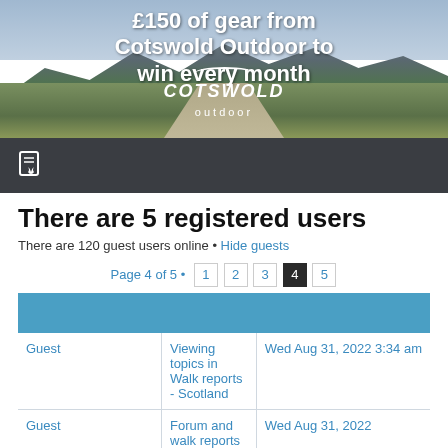[Figure (photo): Advertisement banner for Cotswold Outdoor showing mountain landscape with road, text '£150 of gear from Cotswold Outdoor to win every month' and Cotswold Outdoor logo]
[Figure (other): Dark grey navigation bar with a document/fire icon]
There are 5 registered users
There are 120 guest users online • Hide guests
Page 4 of 5 • 1 2 3 4 5
|  |  |  |
| --- | --- | --- |
| Guest | Viewing topics in Walk reports - Scotland | Wed Aug 31, 2022 3:34 am |
| Guest | Forum and walk reports | Wed Aug 31, 2022 |